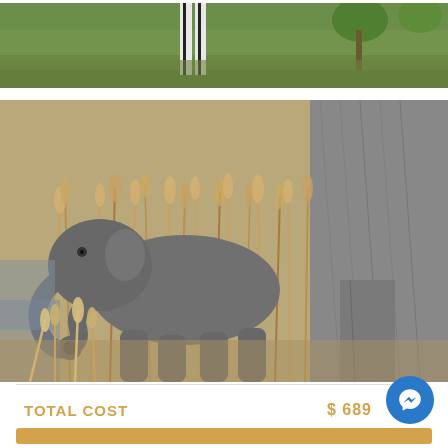[Figure (photo): Partial photo of a zebra in green grass/bush, cropped to show legs and lower body with trees in background]
[Figure (photo): Baby elephant with trunk curled, standing in tall dry grass near water, with adult elephant body visible at right]
TOTAL COST
$ 689